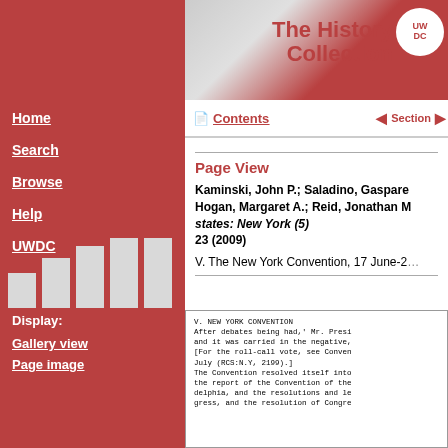The History Collection
Contents | Section
Page View
Kaminski, John P.; Saladino, Gaspare; Hogan, Margaret A.; Reid, Jonathan M.; states: New York (5) 23 (2009)
V. The New York Convention, 17 June-2...
V. NEW YORK CONVENTION
After debates being had,' Mr. Presi...
and it was carried in the negative,
[For the roll-call vote, see Conven...
July (RCS:N.Y, 2199).]
The Convention resolved itself into...
the report of the Convention of the...
delphia, and the resolutions and le...
gress, and the resolution of Congre...
Home
Search
Browse
Help
UWDC
Display:
Gallery view
Page image